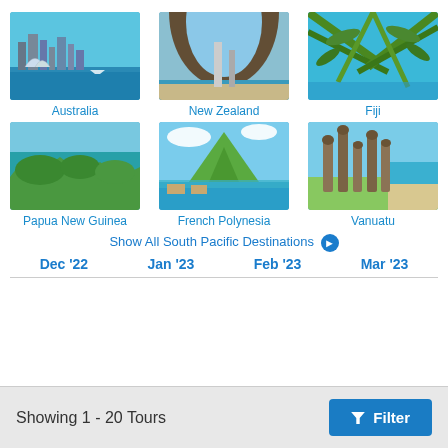[Figure (photo): 3x2 grid of travel destination photos for South Pacific]
Australia
New Zealand
Fiji
Papua New Guinea
French Polynesia
Vanuatu
Show All South Pacific Destinations →
Dec '22    Jan '23    Feb '23    Mar '23
Showing 1 - 20 Tours
Filter